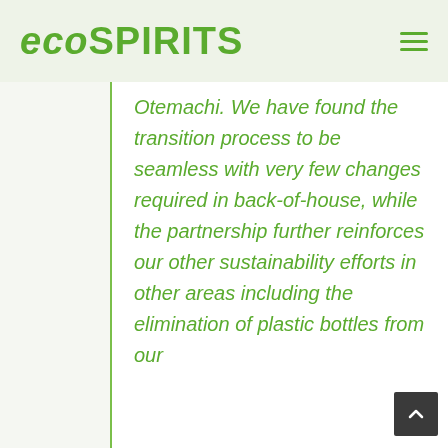ecoSPIRITS
Otemachi. We have found the transition process to be seamless with very few changes required in back-of-house, while the partnership further reinforces our other sustainability efforts in other areas including the elimination of plastic bottles from our